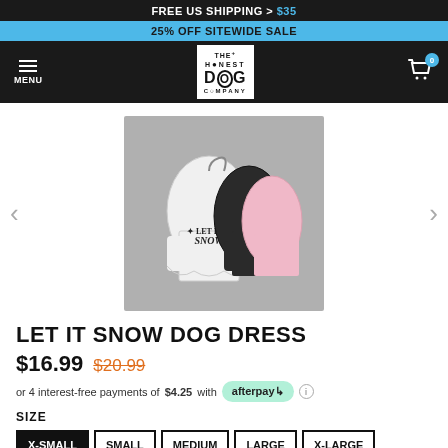FREE US SHIPPING > $35
25% OFF SITEWIDE SALE
[Figure (logo): The Honest Dog Company logo in black and white box]
[Figure (photo): Let It Snow dog dress product photo showing white, black, and pink versions]
LET IT SNOW DOG DRESS
$16.99 $20.99
or 4 interest-free payments of $4.25 with afterpay
SIZE
X-SMALL
SMALL
MEDIUM
LARGE
X-LARGE
2XL
3XL